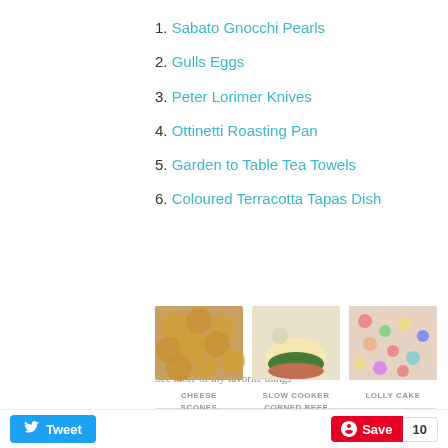1. Sabato Gnocchi Pearls
2. Gulls Eggs
3. Peter Lorimer Knives
4. Ottinetti Roasting Pan
5. Garden to Table Tea Towels
6. Coloured Terracotta Tapas Dish
See more of my favorite things
FAVOURITE RECIPES
[Figure (photo): Three food photos: Cheese Scones, Slow Cooker Corned Beef, Lolly Cake]
CHEESE SCONES   SLOW COOKER CORNED BEEF   LOLLY CAKE
[Figure (photo): Second row of recipe food photos (partially visible)]
Tweet   Save   10